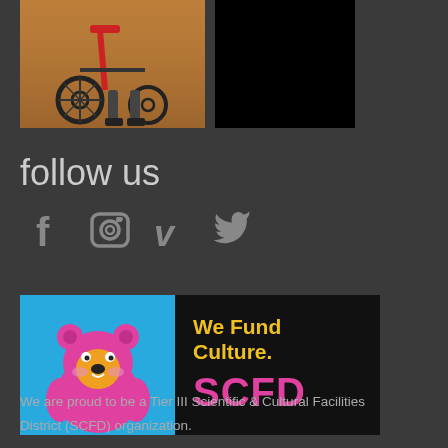[Figure (photo): Partial photograph showing wheelchair wheels and feet on sandy/warm-toned ground, cropped at top]
follow us
[Figure (infographic): Social media icons: Facebook (f), Instagram (camera), Vimeo (v), Twitter (bird)]
[Figure (logo): SCFD banner: cartoon pink bear on blue background on left, black background on right with yellow text 'We Fund Culture.' and pink text 'SCFD']
We are proud to be a Tier III Scientific & Cultural Facilities District (SCFD) organization.